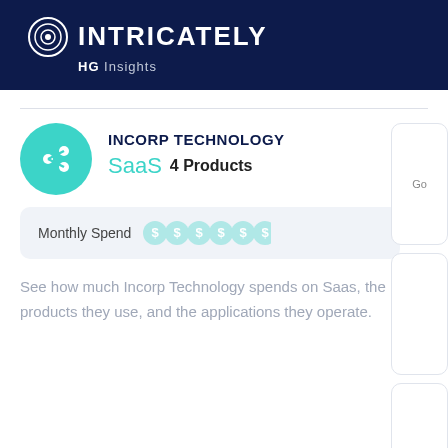INTRICATELY HG Insights
INCORP TECHNOLOGY
SaaS 4 Products
Monthly Spend
See how much Incorp Technology spends on Saas, the products they use, and the applications they operate.